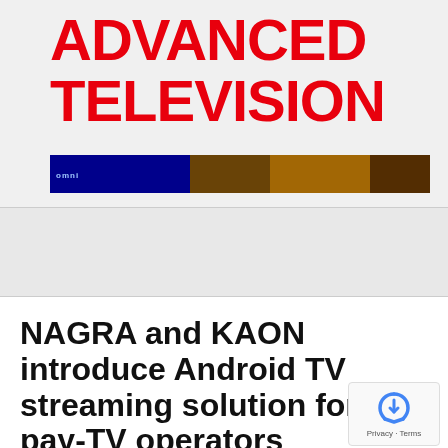ADVANCED TELEVISION
[Figure (screenshot): Horizontal banner advertisement with dark blue left section containing small text 'omni' and a right section showing a blurred city/transportation scene with warm orange lighting]
[Figure (other): Red rounded rectangle hamburger menu button with three white horizontal lines]
NAGRA and KAON introduce Android TV streaming solution for pay-TV operators